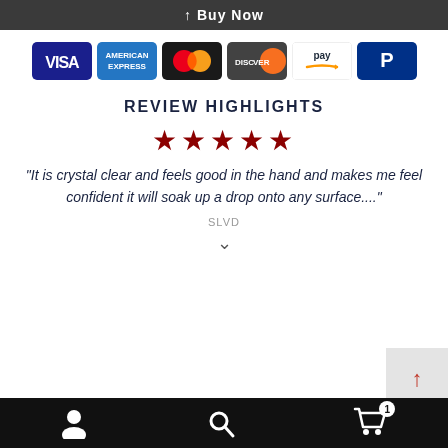↑ Buy Now
[Figure (logo): Payment method icons: VISA, American Express, Mastercard, Discover, Amazon Pay, PayPal]
REVIEW HIGHLIGHTS
[Figure (infographic): 5 red stars rating]
"It is crystal clear and feels good in the hand and makes me feel confident it will soak up a drop onto any surface...."
SLVD
SKU: EMT-322-236F
WARNING: California Prop 65 FAQs
Navigation bar with user, search, and cart icons